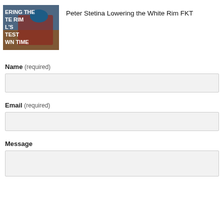[Figure (photo): Thumbnail image of a cyclist in red jersey and blue helmet racing, with overlaid text reading ERING THE TE RIM L'S TEST WN TIME]
Peter Stetina Lowering the White Rim FKT
Name (required)
Email (required)
Message